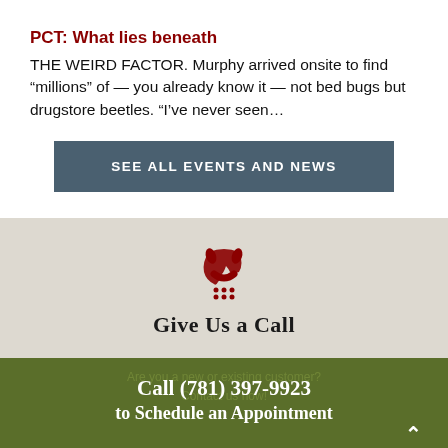PCT: What lies beneath
THE WEIRD FACTOR. Murphy arrived onsite to find “millions” of — you already know it — not bed bugs but drugstore beetles. “I’ve never seen…
SEE ALL EVENTS AND NEWS
[Figure (illustration): Red telephone handset icon with keypad dots below]
Give Us a Call
Call (781) 397-9923 to Schedule an Appointment